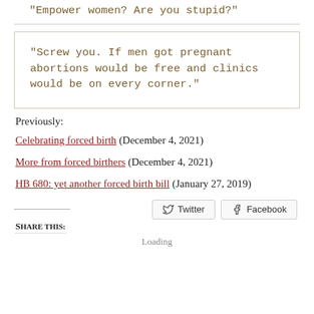“Empower women? Are you stupid?”
“Screw you. If men got pregnant abortions would be free and clinics would be on every corner.”
Previously:
Celebrating forced birth (December 4, 2021)
More from forced birthers (December 4, 2021)
HB 680: yet another forced birth bill (January 27, 2019)
Share this:
Loading